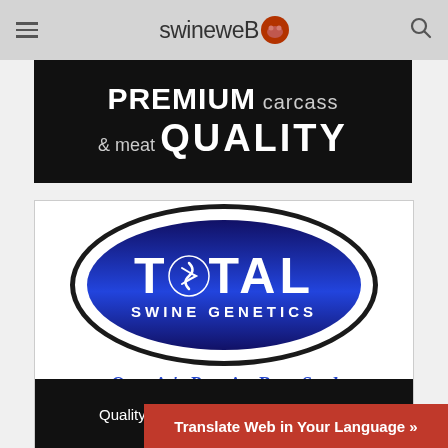[Figure (logo): Swineweb website header navigation bar with hamburger menu, swineweb logo with pig icon, and search icon]
[Figure (illustration): Black banner advertisement reading PREMIUM carcass & meat QUALITY in large white text]
[Figure (logo): Total Swine Genetics advertisement logo — oval badge with blue gradient, TOTAL SWINE GENETICS text, Ontario's Premier Boar Stud tagline, Quality. Dependability. Service. on black footer]
Translate Web in Your Language »